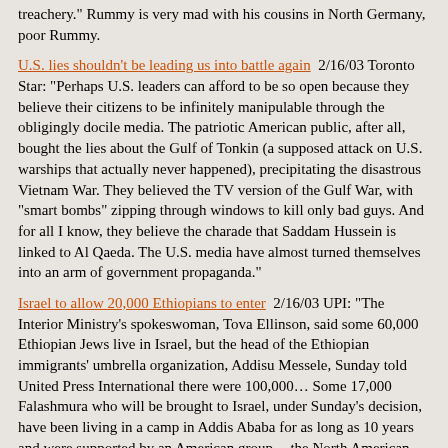treachery." Rummy is very mad with his cousins in North Germany, poor Rummy.
U.S. lies shouldn't be leading us into battle again  2/16/03 Toronto Star: "Perhaps U.S. leaders can afford to be so open because they believe their citizens to be infinitely manipulable through the obligingly docile media. The patriotic American public, after all, bought the lies about the Gulf of Tonkin (a supposed attack on U.S. warships that actually never happened), precipitating the disastrous Vietnam War. They believed the TV version of the Gulf War, with "smart bombs" zipping through windows to kill only bad guys. And for all I know, they believe the charade that Saddam Hussein is linked to Al Qaeda. The U.S. media have almost turned themselves into an arm of government propaganda."
Israel to allow 20,000 Ethiopians to enter  2/16/03 UPI: "The Interior Ministry's spokeswoman, Tova Ellinson, said some 60,000 Ethiopian Jews live in Israel, but the head of the Ethiopian immigrants' umbrella organization, Addisu Messele, Sunday told United Press International there were 100,000… Some 17,000 Falashmura who will be brought to Israel, under Sunday's decision, have been living in a camp in Addis Ababa for as long as 10 years and were supported by an American group -- the North American Conference for Ethiopian Jewry. Some 3,000 to 4,000 others have been living in the northern town of Gonder… The idea is to bring them over gradually over a period of a year or two and do so "quietly" so that the